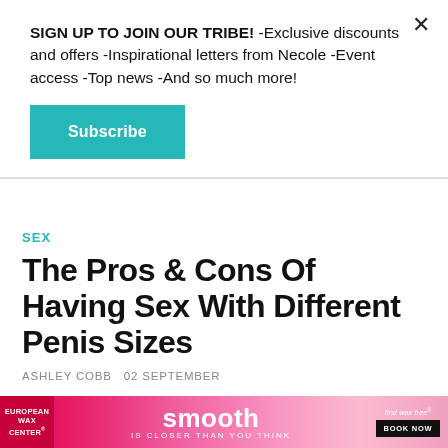SIGN UP TO JOIN OUR TRIBE! -Exclusive discounts and offers -Inspirational letters from Necole -Event access -Top news -And so much more!
Subscribe
SEX
The Pros & Cons Of Having Sex With Different Penis Sizes
ASHLEY COBB  02 SEPTEMBER
[Figure (photo): Partial view of two people, top of heads visible, photo strip at bottom of article]
[Figure (infographic): European Wax Center advertisement banner: smooth IS CLOSER THAN YOU THINK, FIRST WAX free, BOOK NOW]